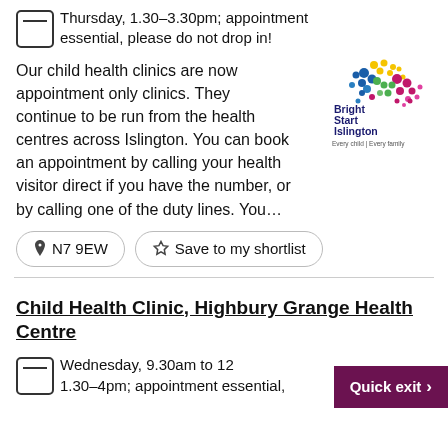Thursday, 1.30–3.30pm; appointment essential, please do not drop in!
Our child health clinics are now appointment only clinics. They continue to be run from the health centres across Islington. You can book an appointment by calling your health visitor direct if you have the number, or by calling one of the duty lines. You…
[Figure (logo): Bright Start Islington logo — colourful dotted pattern forming a butterfly/flower shape with text 'Bright Start Islington Every child | Every family']
N7 9EW
Save to my shortlist
Child Health Clinic, Highbury Grange Health Centre
Wednesday, 9.30am to 12… 1.30–4pm; appointment essential,